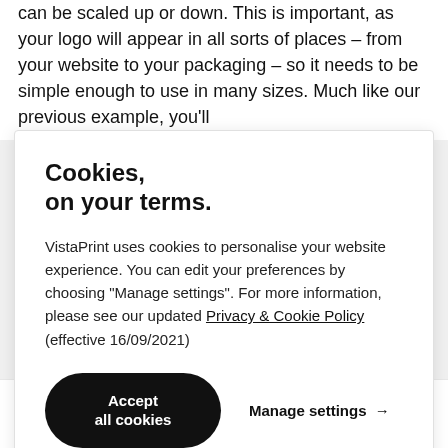can be scaled up or down. This is important, as your logo will appear in all sorts of places – from your website to your packaging – so it needs to be simple enough to use in many sizes. Much like our previous example, you'll
[Figure (screenshot): Cookie consent overlay popup from VistaPrint with title 'Cookies, on your terms.', body text about cookies and privacy policy, an 'Accept all cookies' black rounded button, and a 'Manage settings →' link.]
[Figure (other): Bottom strip showing partial website elements: a red arch/hat shape on the left, a red circle dot in the middle-left, a red square in the middle-right, and a smaller red square on the right.]